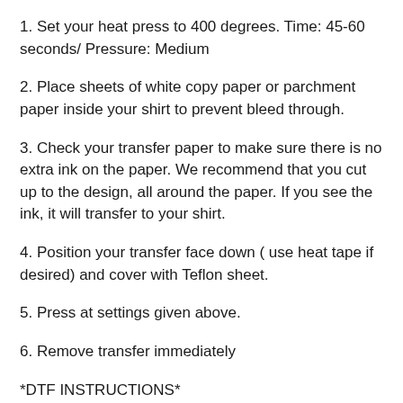1. Set your heat press to 400 degrees. Time: 45-60 seconds/ Pressure: Medium
2. Place sheets of white copy paper or parchment paper inside your shirt to prevent bleed through.
3. Check your transfer paper to make sure there is no extra ink on the paper. We recommend that you cut up to the design, all around the paper. If you see the ink, it will transfer to your shirt.
4. Position your transfer face down ( use heat tape if desired) and cover with Teflon sheet.
5. Press at settings given above.
6. Remove transfer immediately
*DTF INSTRUCTIONS*
Always pre press your shirt for 5 seconds to remove any moisture (this should be done with any kind of shirt transfer